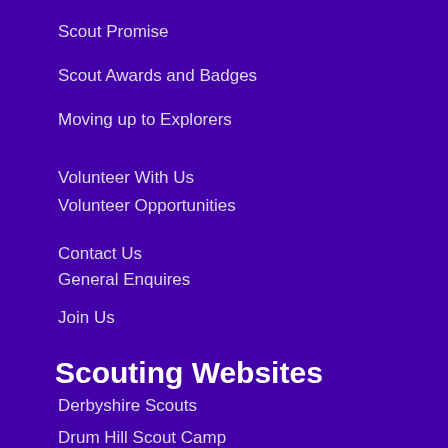Scout Promise
Scout Awards and Badges
Moving up to Explorers
Volunteer With Us
Volunteer Opportunities
Contact Us
General Enquires
Join Us
Scouting Websites
Derbyshire Scouts
Drum Hill Scout Camp